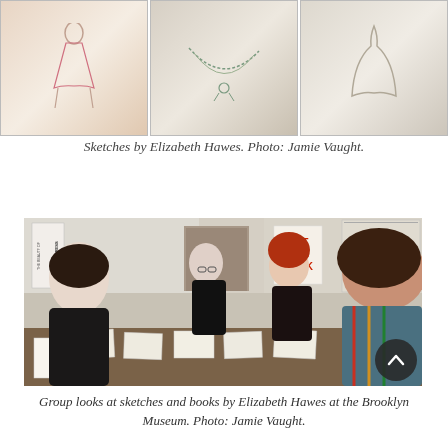[Figure (photo): Three side-by-side sketches by Elizabeth Hawes on paper, photographed on a wooden surface]
Sketches by Elizabeth Hawes. Photo: Jamie Vaught.
[Figure (photo): Group of people looking at sketches and books spread on a table at the Brooklyn Museum. A letterpress poster is on the left wall and an Artists Books poster is on the right wall. Bookshelves are visible in the background.]
Group looks at sketches and books by Elizabeth Hawes at the Brooklyn Museum. Photo: Jamie Vaught.